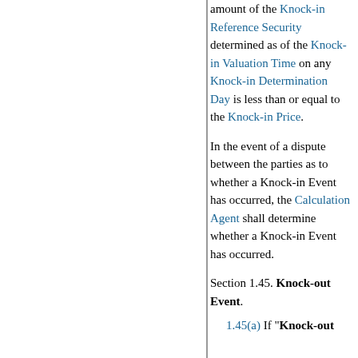amount of the Knock-in Reference Security determined as of the Knock-in Valuation Time on any Knock-in Determination Day is less than or equal to the Knock-in Price.
In the event of a dispute between the parties as to whether a Knock-in Event has occurred, the Calculation Agent shall determine whether a Knock-in Event has occurred.
Section 1.45. Knock-out Event.
1.45(a) If "Knock-out